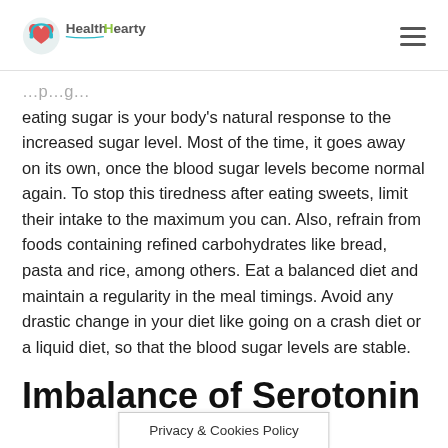HealthHearty
eating sugar is your body's natural response to the increased sugar level. Most of the time, it goes away on its own, once the blood sugar levels become normal again. To stop this tiredness after eating sweets, limit their intake to the maximum you can. Also, refrain from foods containing refined carbohydrates like bread, pasta and rice, among others. Eat a balanced diet and maintain a regularity in the meal timings. Avoid any drastic change in your diet like going on a crash diet or a liquid diet, so that the blood sugar levels are stable.
Imbalance of Serotonin
Privacy & Cookies Policy